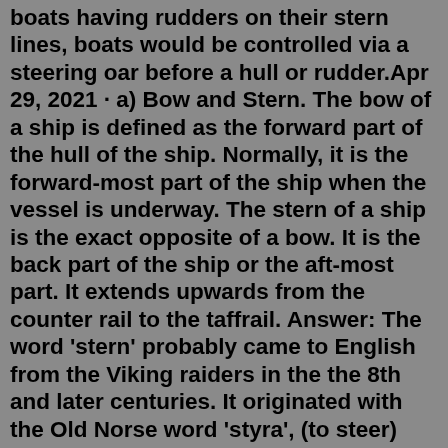boats having rudders on their stern lines, boats would be controlled via a steering oar before a hull or rudder.Apr 29, 2021 · a) Bow and Stern. The bow of a ship is defined as the forward part of the hull of the ship. Normally, it is the forward-most part of the ship when the vessel is underway. The stern of a ship is the exact opposite of a bow. It is the back part of the ship or the aft-most part. It extends upwards from the counter rail to the taffrail. Answer: The word 'stern' probably came to English from the Viking raiders in the the 8th and later centuries. It originated with the Old Norse word 'styra', (to steer) which became 'stjorn' (steering) becoming 'styrne' in Old English and thence 'stern' in Middle English. Definition of stem to stern in the Idioms Dictionary. stem to stern phrase. What does stem to stern expression mean? ... The stem and the stern are opposite ends of a ship. If that guy so much as looks at me the wrong way, I'll cut him from stem to stern, I swear! When I had the flu, I honestly ached from stem to stern and couldn't get out of ...Stern: The rear of a ship. Tack: To sail a